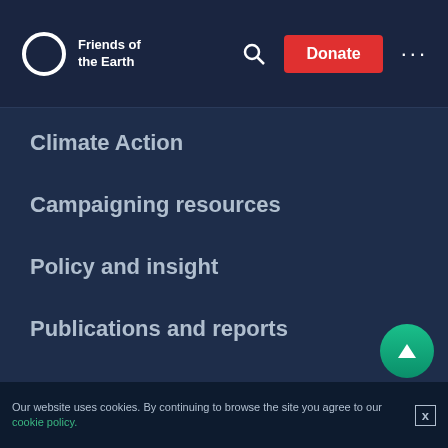Friends of the Earth — navigation header with search, Donate button, and menu toggle
Climate Action
Campaigning resources
Policy and insight
Publications and reports
Supporter promise
Charitable Trust
Our website uses cookies. By continuing to browse the site you agree to our cookie policy.